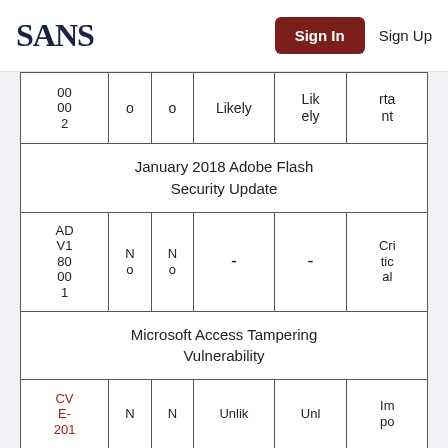SANS  Sign In  Sign Up
| ID | Col2 | Col3 | Col4 | Col5 | Col6 |
| --- | --- | --- | --- | --- | --- |
| 000002 | o | o | Likely | Likely | rtant |
| January 2018 Adobe Flash Security Update |  |  |  |  |  |
| ADV180001 | No | No | - | - | Critical |
| Microsoft Access Tampering Vulnerability |  |  |  |  |  |
| CVE-201... | N | N | Unlik... | Unl... | Impo... |